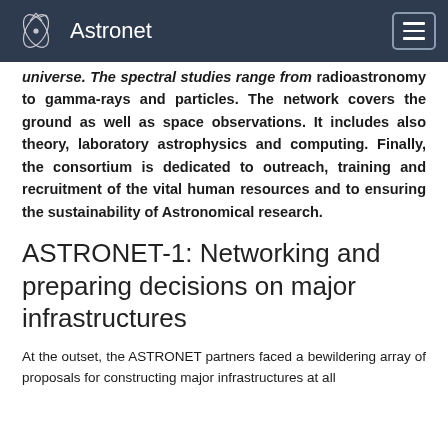Astronet
universe. The spectral studies range from radioastronomy to gamma-rays and particles. The network covers the ground as well as space observations. It includes also theory, laboratory astrophysics and computing. Finally, the consortium is dedicated to outreach, training and recruitment of the vital human resources and to ensuring the sustainability of Astronomical research.
ASTRONET-1: Networking and preparing decisions on major infrastructures
At the outset, the ASTRONET partners faced a bewildering array of proposals for constructing major infrastructures at all